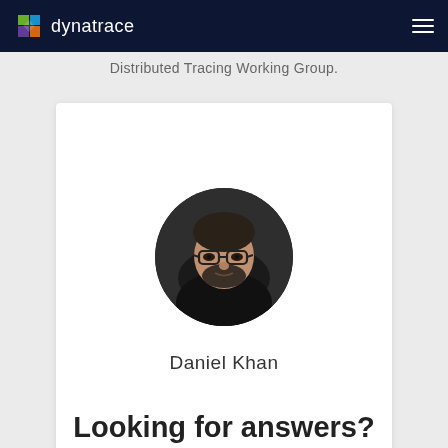dynatrace
Distributed Tracing Working Group.
[Figure (photo): Circular profile photo of Daniel Khan, a man with glasses and a beard wearing a black shirt]
Daniel Khan
Looking for answers?